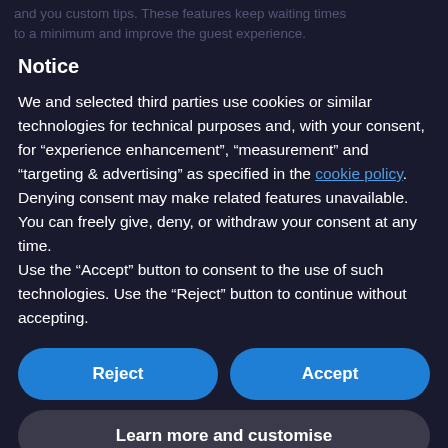and you custom tips. These features keep waiting times to a minimum and improve the guest experience.
Notice
We and selected third parties use cookies or similar technologies for technical purposes and, with your consent, for “experience enhancement”, “measurement” and “targeting & advertising” as specified in the cookie policy. Denying consent may make related features unavailable.
You can freely give, deny, or withdraw your consent at any time.
Use the “Accept” button to consent to the use of such technologies. Use the “Reject” button to continue without accepting.
Reject
Accept
Learn more and customise